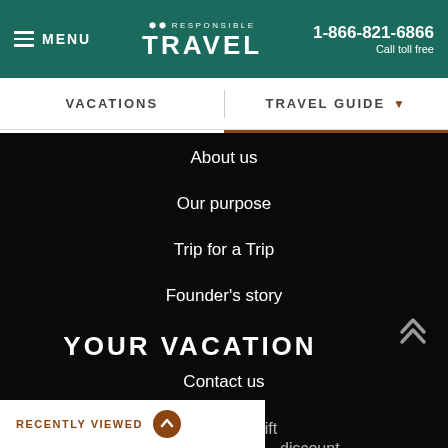RESPONSIBLE TRAVEL | 1-866-821-6866 | Call toll free | MENU
VACATIONS | TRAVEL GUIDE
About us
Our purpose
Trip for a Trip
Founder's story
YOUR VACATION
Contact us
Reviews
Claim your free gift
discount
RECENTLY VIEWED